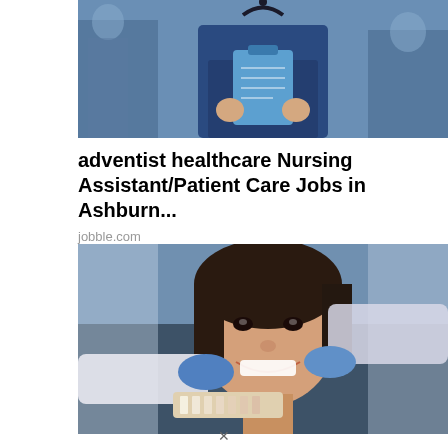[Figure (photo): Healthcare worker in blue scrubs holding a clipboard, with stethoscope around neck, other medical staff in background]
adventist healthcare Nursing Assistant/Patient Care Jobs in Ashburn...
jobble.com
[Figure (photo): Dental patient smiling in chair while dentist in white coat and blue gloves holds tooth color shade guide near her teeth]